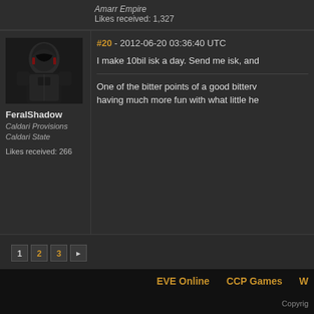Amarr Empire
Likes received: 1,327
[Figure (photo): Dark armored space game character avatar for user FeralShadow]
FeralShadow
Caldari Provisions
Caldari State
Likes received: 266
#20 - 2012-06-20 03:36:40 UTC
I make 10bil isk a day. Send me isk, and
One of the bitter points of a good bitterv having much more fun with what little he
1 2 3 ▶
EVE Online   CCP Games   W
Copyrig